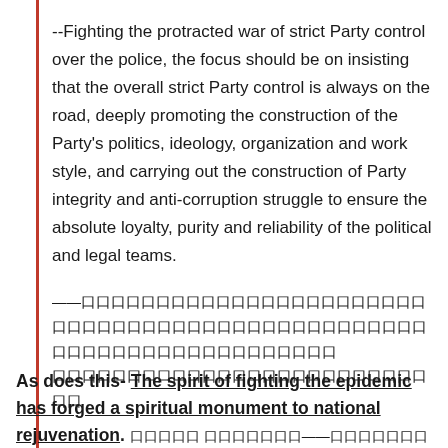--Fighting the protracted war of strict Party control over the police, the focus should be on insisting that the overall strict Party control is always on the road, deeply promoting the construction of the Party's politics, ideology, organization and work style, and carrying out the construction of Party integrity and anti-corruption struggle to ensure the absolute loyalty, purity and reliability of the political and legal teams.
——[Chinese characters]
As does this- The spirit of fighting the epidemic has forged a spiritual monument to national rejuvenation. [Chinese characters]——[Chinese characters]